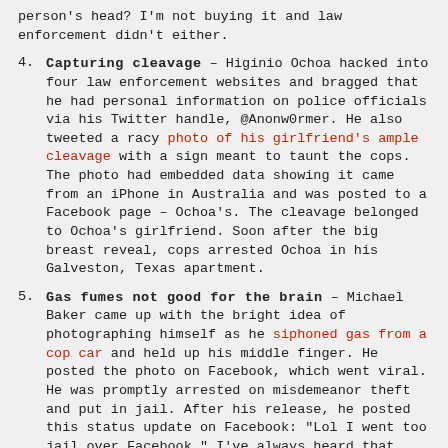person's head? I'm not buying it and law enforcement didn't either.
4. Capturing cleavage – Higinio Ochoa hacked into four law enforcement websites and bragged that he had personal information on police officials via his Twitter handle, @Anonw0rmer. He also tweeted a racy photo of his girlfriend's ample cleavage with a sign meant to taunt the cops. The photo had embedded data showing it came from an iPhone in Australia and was posted to a Facebook page – Ochoa's. The cleavage belonged to Ochoa's girlfriend. Soon after the big breast reveal, cops arrested Ochoa in his Galveston, Texas apartment.
5. Gas fumes not good for the brain – Michael Baker came up with the bright idea of photographing himself as he siphoned gas from a cop car and held up his middle finger. He posted the photo on Facebook, which went viral. He was promptly arrested on misdemeanor theft and put in jail. After his release, he posted this status update on Facebook: "Lol I went too jail over Facebook." I've always heard that breathing in too many gas fumes can cause brain damage. Now I know it's true.
6. Maxi stupidity – Maxi Sopo fled to Cancun after defrauding several banks in Seattle out of $200,000. Proud of his heist, Sopo documented his Cancun vacation via Facebook for all his friends and family to see. It's normal for people to post about their vacations on Facebook, isn't it? There's a reason that many people